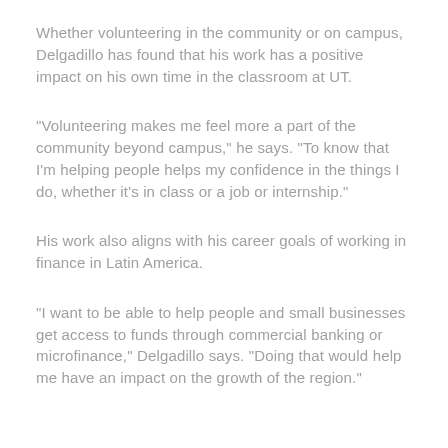Whether volunteering in the community or on campus, Delgadillo has found that his work has a positive impact on his own time in the classroom at UT.
"Volunteering makes me feel more a part of the community beyond campus," he says. "To know that I'm helping people helps my confidence in the things I do, whether it's in class or a job or internship."
His work also aligns with his career goals of working in finance in Latin America.
"I want to be able to help people and small businesses get access to funds through commercial banking or microfinance," Delgadillo says. "Doing that would help me have an impact on the growth of the region."